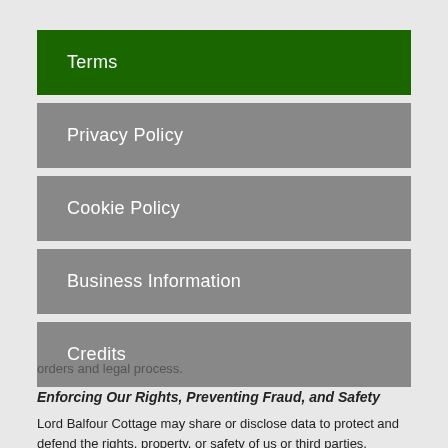Terms
Privacy Policy
Cookie Policy
Business Information
Credits
orders and legal process.
Enforcing Our Rights, Preventing Fraud, and Safety
Lord Balfour Cottage may share or disclose data to protect and defend the rights, property, or safety of us or third parties, including enforcing contracts or policies, or in connection with investigation and preventing fraud.